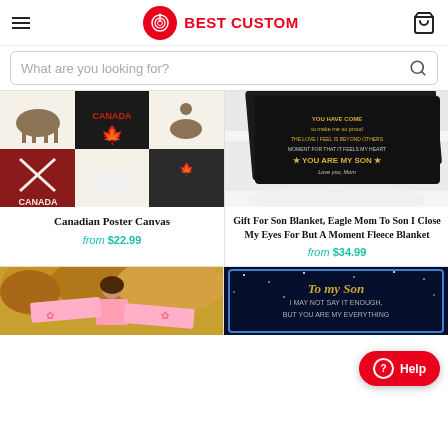Best Custom
What are you looking for?
[Figure (photo): Canadian Poster Canvas product image showing Canada-themed patchwork with maple leaf and horse motifs]
Canadian Poster Canvas
from $22.99
[Figure (photo): Gift For Son Blanket product image showing a dark fleece blanket with gold text message on a white pillow]
Gift For Son Blanket, Eagle Mom To Son I Close My Eyes For But A Moment Fleece Blanket
from $34.99
[Figure (photo): Woman holding a pink blanket outdoors with autumn trees in background]
[Figure (photo): To My Son blanket with text I May Not Say It Enough, But You Are My Everything on dark starry background]